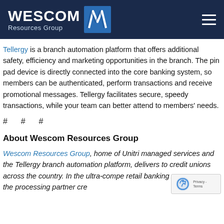[Figure (logo): Wescom Resources Group logo with dark navy header, white WESCOM text, blue diamond/chevron icon, and hamburger menu icon on right]
Tellergy is a branch automation platform that offers additional safety, efficiency and marketing opportunities in the branch. The pin pad device is directly connected into the core banking system, so members can be authenticated, perform transactions and receive promotional messages. Tellergy facilitates secure, speedy transactions, while your team can better attend to members' needs.
# # #
About Wescom Resources Group
Wescom Resources Group, home of Unitri managed services and the Tellergy branch automation platform, delivers to credit unions across the country. In the ultra-compe retail banking space, we are the processing partner cre